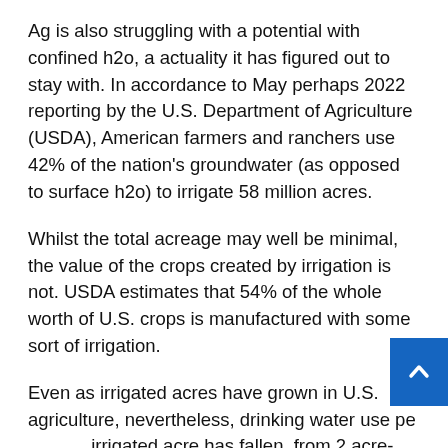Ag is also struggling with a potential with confined h2o, a actuality it has figured out to stay with. In accordance to May perhaps 2022 reporting by the U.S. Department of Agriculture (USDA), American farmers and ranchers use 42% of the nation's groundwater (as opposed to surface h2o) to irrigate 58 million acres.
Whilst the total acreage may well be minimal, the value of the crops created by irrigation is not. USDA estimates that 54% of the whole worth of U.S. crops is manufactured with some sort of irrigation.
Even as irrigated acres have grown in U.S. agriculture, nevertheless, drinking water use per irrigated acre has fallen, from 2 acre-feet to 1. acre-ft. That development, both of those h2o use